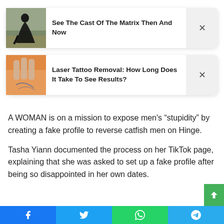[Figure (screenshot): Ad card 1: thumbnail of a person in black clothing outdoors, with title 'See The Cast Of The Matrix Then And Now' and an X close button]
[Figure (screenshot): Ad card 2: thumbnail of hands near a tattooed leg, with title 'Laser Tattoo Removal: How Long Does It Take To See Results?' and an X close button]
A WOMAN is on a mission to expose men’s “stupidity” by creating a fake profile to reverse catfish men on Hinge.
Tasha Yiann documented the process on her TikTok page, explaining that she was asked to set up a fake profile after being so disappointed in her own dates.